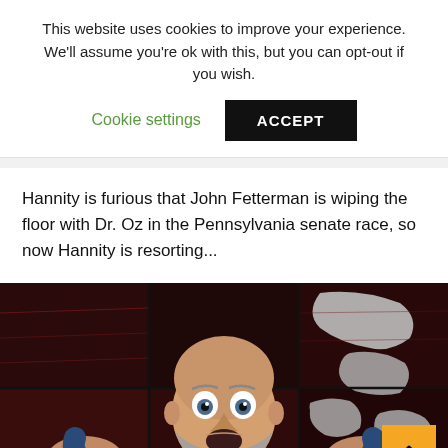This website uses cookies to improve your experience. We'll assume you're ok with this, but you can opt-out if you wish.
Cookie settings   ACCEPT
Hannity is furious that John Fetterman is wiping the floor with Dr. Oz in the Pennsylvania senate race, so now Hannity is resorting...
[Figure (photo): A bald man with a beard wearing a blue shirt, with a shocked/surprised expression, hands raised with palms up. Behind him is a red and white world map displayed on a grid of screens.]